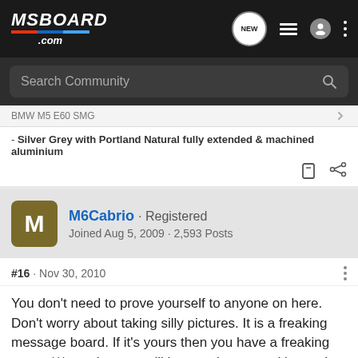MSBOARD.com - Search Community
BMW M5 E60 SMG
- Silver Grey with Portland Natural fully extended & machined aluminium
M6Cabrio · Registered
Joined Aug 5, 2009 · 2,593 Posts
#16 · Nov 30, 2010
You don't need to prove yourself to anyone on here. Don't worry about taking silly pictures. It is a freaking message board. If it's yours then you have a freaking sweet *** car that you will be sporting around in south Florida.
[Figure (photo): OPTIMA Batteries advertisement banner with blue background]
I love th...99 in